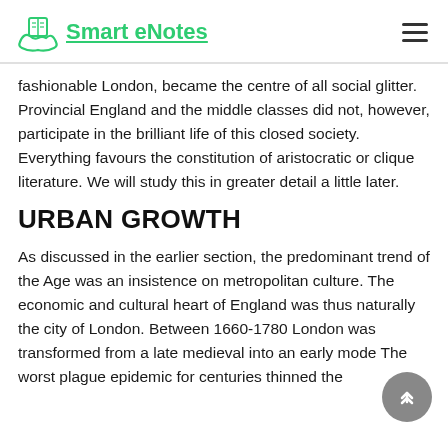Smart eNotes
fashionable London, became the centre of all social glitter. Provincial England and the middle classes did not, however, participate in the brilliant life of this closed society. Everything favours the constitution of aristocratic or clique literature. We will study this in greater detail a little later.
URBAN GROWTH
As discussed in the earlier section, the predominant trend of the Age was an insistence on metropolitan culture. The economic and cultural heart of England was thus naturally the city of London. Between 1660-1780 London was transformed from a late medieval into an early mode The worst plague epidemic for centuries thinned the